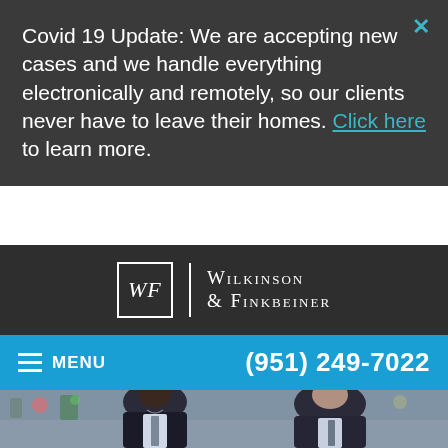Covid 19 Update: We are accepting new cases and we handle everything electronically and remotely, so our clients never have to leave their homes. Click here to learn more.
[Figure (logo): Wilkinson & Finkbeiner law firm logo: WF monogram in a box, vertical divider, firm name in serif small-caps]
MENU   (951) 249-7022
[Figure (photo): Two men in dark suits conversing outdoors, blurred background with trees and traffic lights]